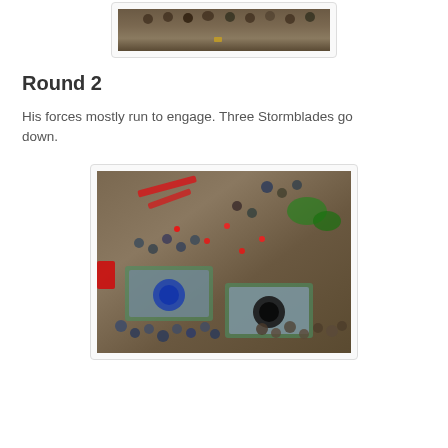[Figure (photo): Overhead view of miniature wargame figures arranged on a brown gaming table surface, top portion visible]
Round 2
His forces mostly run to engage. Three Stormblades go down.
[Figure (photo): Overhead view of miniature wargame battle in progress on a brown table, showing figures around two objective markers (rectangular mats with blue and black circles), with red measurement sticks, green terrain, and many miniature figures spread across the board]